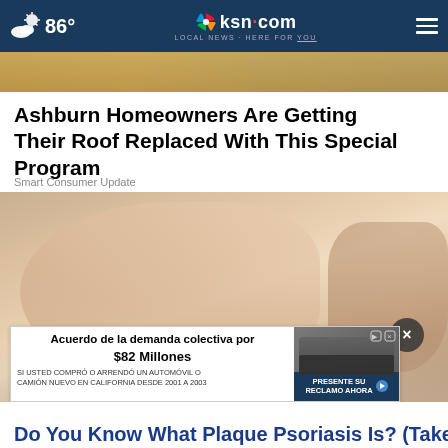86° | ksn.com LOCAL NEWS · HERE FOR YOU
[Figure (photo): Top strip image showing partial view of outdoor scene]
Ashburn Homeowners Are Getting Their Roof Replaced With This Special Program
Smart Consumer Update
[Figure (photo): Close-up photo of a human foot/ankle being held, showing dry skin condition, with a close button overlay]
[Figure (other): Advertisement banner: 'Acuerdo de la demanda colectiva por $82 Millones - SI USTED COMPRÓ O ARRENDÓ UN AUTOMÓVIL O CAMIÓN NUEVO EN CALIFORNIA DESDE 2001 A 2003' with a truck image and 'PRESENTE SU RECLAMO AHORA' button]
Do You Know What Plaque Psoriasis Is? (Take a